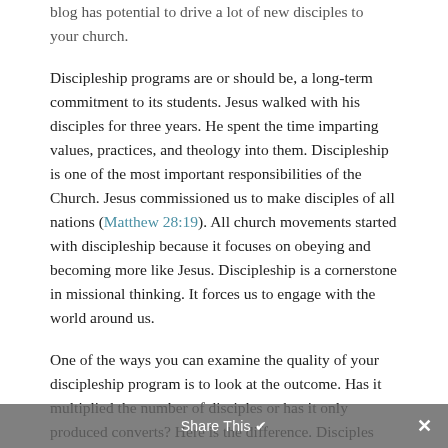…blog has potential to drive a lot of new disciples to your church.
Discipleship programs are or should be, a long-term commitment to its students. Jesus walked with his disciples for three years. He spent the time imparting values, practices, and theology into them. Discipleship is one of the most important responsibilities of the Church. Jesus commissioned us to make disciples of all nations (Matthew 28:19). All church movements started with discipleship because it focuses on obeying and becoming more like Jesus. Discipleship is a cornerstone in missional thinking. It forces us to engage with the world around us.
One of the ways you can examine the quality of your discipleship program is to look at the outcome. Has it multiplied the number of disciples or has it only produced converts? Here is the difference. Disciples create more disciples. Share This…ce idle disciples…
Share This ✕